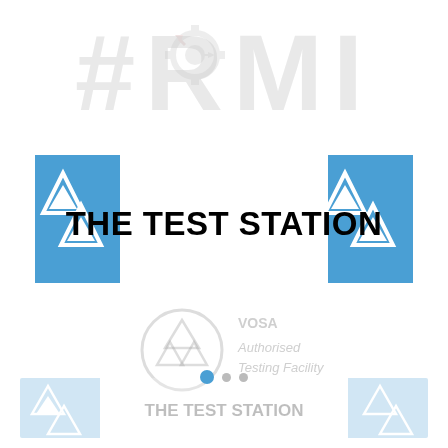[Figure (logo): RMI watermark text top of page with gear/wrench icon]
[Figure (logo): MOT The Test Station blue banner sign with two MOT triangle symbols on each side and white text box reading THE TEST STATION in bold black]
[Figure (logo): VOSA MOT Authorised Testing Facility watermark logo in center of page]
[Figure (logo): Bottom watermark showing blue MOT banner with THE TEST STATION text, faded]
● · ·